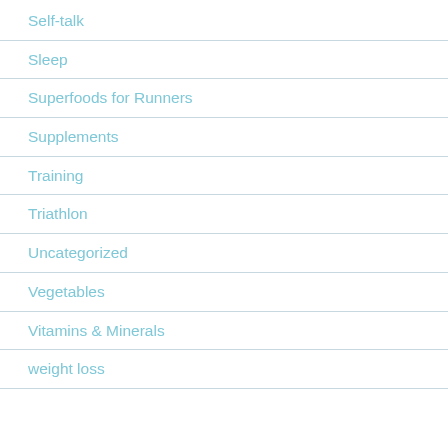Self-talk
Sleep
Superfoods for Runners
Supplements
Training
Triathlon
Uncategorized
Vegetables
Vitamins & Minerals
weight loss